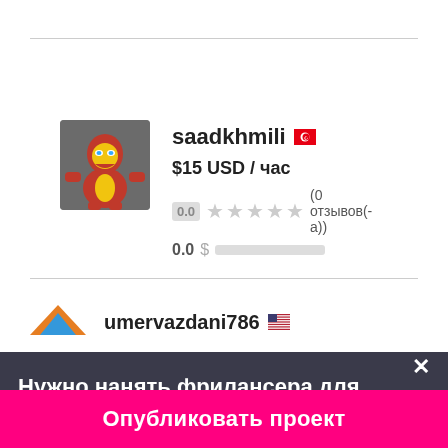[Figure (screenshot): Freelancer profile card for saadkhmili with Iron Man avatar, rating 0.0, $15 USD/час]
saadkhmili
$15 USD / час
0.0 (0 отзывов(-а))
0.0 $
umervazdani786
Нужно нанять фрилансера для работы?✕
Опубликовать проект